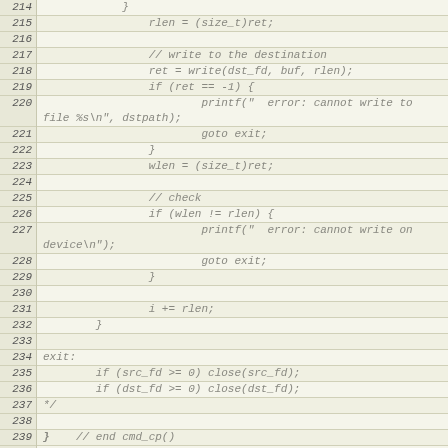[Figure (screenshot): Source code listing in monospace font with line numbers 214-244, showing C code for a file copy function and the beginning of a cmd_display function. The code is rendered in italic monospace on a light beige background with line number gutter.]